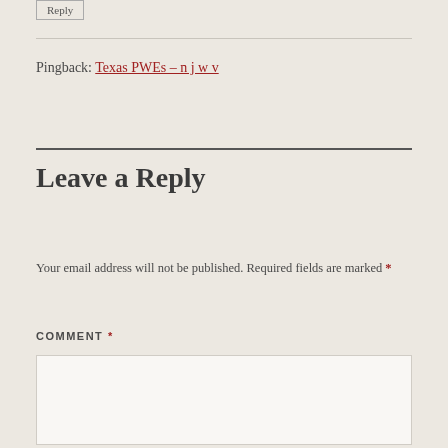Reply
Pingback: Texas PWEs – n j w v
Leave a Reply
Your email address will not be published. Required fields are marked *
COMMENT *